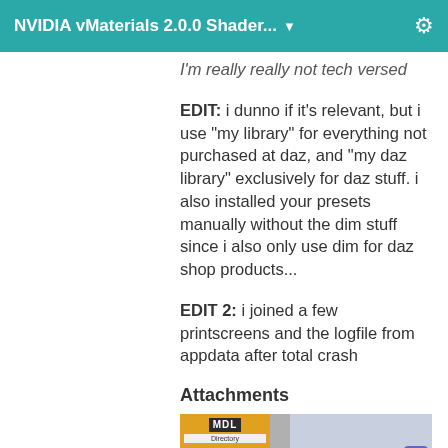NVIDIA vMaterials 2.0.0 Shader... ▼
I'm really really not tech versed
EDIT: i dunno if it's relevant, but i use "my library" for everything not purchased at daz, and "my daz library" exclusively for daz stuff. i also installed your presets manually without the dim stuff since i also only use dim for daz shop products...
EDIT 2: i joined a few printscreens and the logfile from appdata after total crash
Attachments
[Figure (screenshot): Thumbnail strip showing MDL directory screenshot on left with orange background and a light blue panel on the right with a small purple icon]